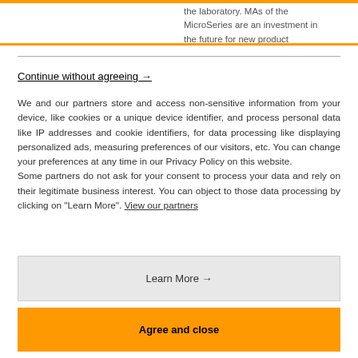the laboratory. MAs of the MicroSeries are an investment in the future for new product developments of different fields of
Continue without agreeing →
We and our partners store and access non-sensitive information from your device, like cookies or a unique device identifier, and process personal data like IP addresses and cookie identifiers, for data processing like displaying personalized ads, measuring preferences of our visitors, etc. You can change your preferences at any time in our Privacy Policy on this website.
Some partners do not ask for your consent to process your data and rely on their legitimate business interest. You can object to those data processing by clicking on "Learn More". View our partners
Learn More →
Agree and close